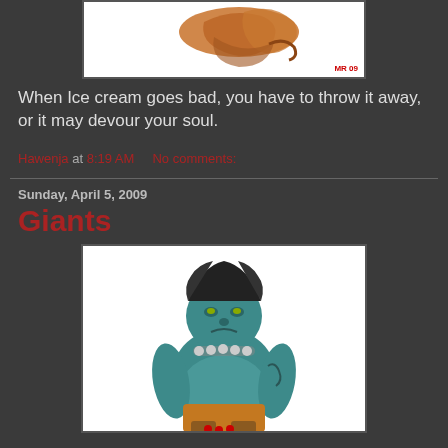[Figure (illustration): Partial illustration of ice cream monster on white background with 'MR 09' red label in bottom right corner]
When Ice cream goes bad, you have to throw it away, or it may devour your soul.
Hawenja at 8:19 AM    No comments:
Sunday, April 5, 2009
Giants
[Figure (illustration): Illustration of a large blue troll/giant creature with skull necklace, dark hair, tattoos, wearing an orange loincloth, standing menacingly on white background]